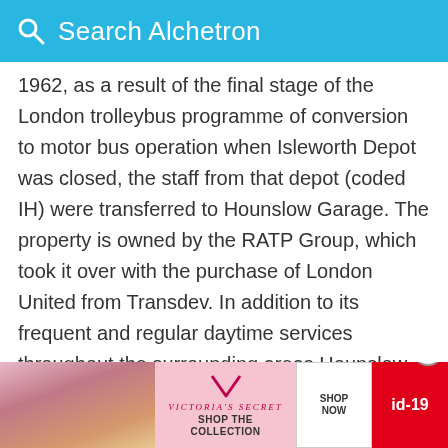Search Alchetron
1962, as a result of the final stage of the London trolleybus programme of conversion to motor bus operation when Isleworth Depot was closed, the staff from that depot (coded IH) were transferred to Hounslow Garage. The property is owned by the RATP Group, which took it over with the purchase of London United from Transdev. In addition to its frequent and regular daytime services throughout the surrounding areas Hounslow figures on the N9 night service from Heathrow to Central London.
Hounslow Heath Aerodrome was a grass airfield, operational 1914–1920. It was in the London borough from which al
[Figure (advertisement): Victoria's Secret advertisement banner with model photo, VS logo, 'SHOP THE COLLECTION' text, 'SHOP NOW' button, and 'id-19' red badge]